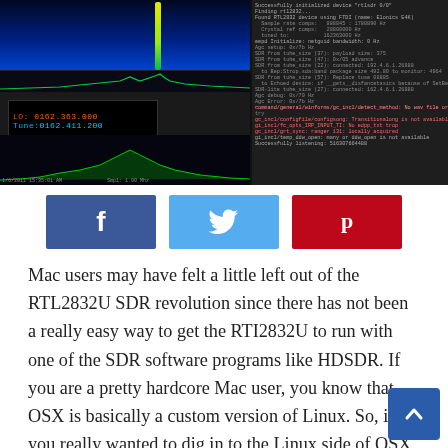[Figure (screenshot): Screenshot of SDR (Software Defined Radio) application on Mac, showing spectrum waterfall display on the left with frequency readout (LO: 0162.363.000, Tune: 0162.411.200) and a terminal/console output window on the right with diagnostic text.]
[Figure (infographic): Social sharing buttons row: Facebook (dark blue, f icon), Twitter (light blue, bird icon), Pinterest (red, P icon)]
Mac users may have felt a little left out of the RTL2832U SDR revolution since there has not been a really easy way to get the RTI2832U to run with one of the SDR software programs like HDSDR. If you are a pretty hardcore Mac user, you know that OSX is basically a custom version of Linux. So, if you really wanted to dig in to the Linux side of OSX you can get a RTL2832U running under OSX. The simplest